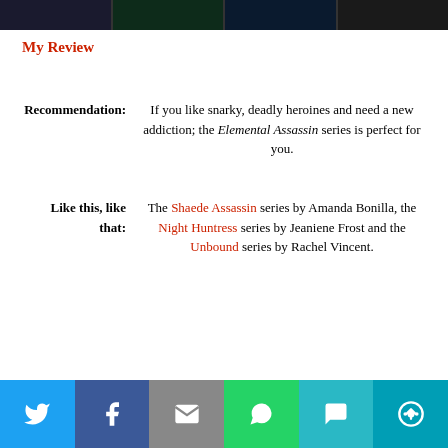[Figure (illustration): Row of four book covers at top of page]
My Review
Recommendation: If you like snarky, deadly heroines and need a new addiction; the Elemental Assassin series is perfect for you.
Like this, like that: The Shaede Assassin series by Amanda Bonilla, the Night Huntress series by Jeaniene Frost and the Unbound series by Rachel Vincent.
[Figure (infographic): Social sharing bar with Twitter, Facebook, Email, WhatsApp, SMS, and More buttons]